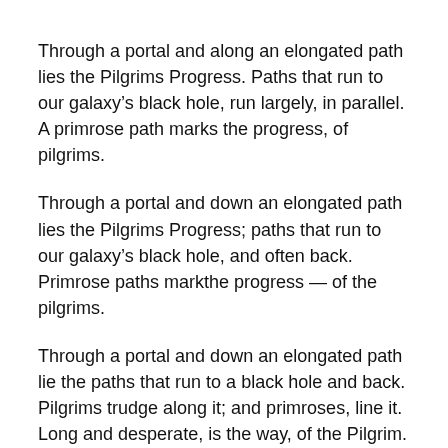Through a portal and along an elongated path lies the Pilgrims Progress. Paths that run to our galaxy’s black hole, run largely, in parallel. A primrose path marks the progress, of pilgrims.
Through a portal and down an elongated path lies the Pilgrims Progress; paths that run to our galaxy’s black hole, and often back. Primrose paths markthe progress — of the pilgrims.
Through a portal and down an elongated path lie the paths that run to a black hole and back. Pilgrims trudge along it; and primroses, line it. Long and desperate, is the way, of the Pilgrim.
Long down a long path to a black hole and at timesback,